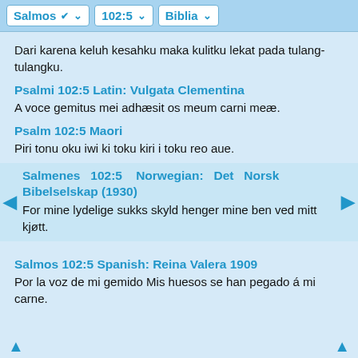Salmos | 102:5 | Biblia
Dari karena keluh kesahku maka kulitku lekat pada tulang-tulangku.
Psalmi 102:5 Latin: Vulgata Clementina
A voce gemitus mei adhæsit os meum carni meæ.
Psalm 102:5 Maori
Piri tonu oku iwi ki toku kiri i toku reo aue.
Salmenes 102:5 Norwegian: Det Norsk Bibelselskap (1930)
For mine lydelige sukks skyld henger mine ben ved mitt kjøtt.
Salmos 102:5 Spanish: Reina Valera 1909
Por la voz de mi gemido Mis huesos se han pegado á mi carne.